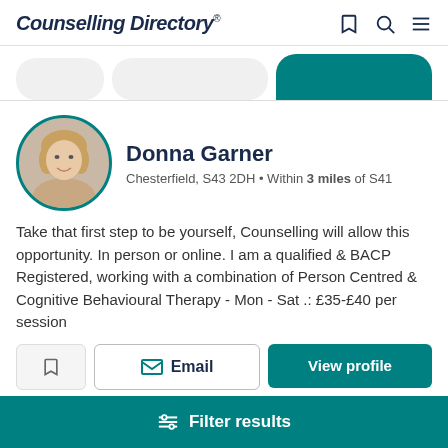Counselling Directory®
[Figure (screenshot): Navigation tab bar with three tabs, the rightmost active in teal]
Donna Garner
Chesterfield, S43 2DH • Within 3 miles of S41
Take that first step to be yourself, Counselling will allow this opportunity. In person or online. I am a qualified & BACP Registered, working with a combination of Person Centred & Cognitive Behavioural Therapy - Mon - Sat .: £35-£40 per session
Email | View profile
Filter results